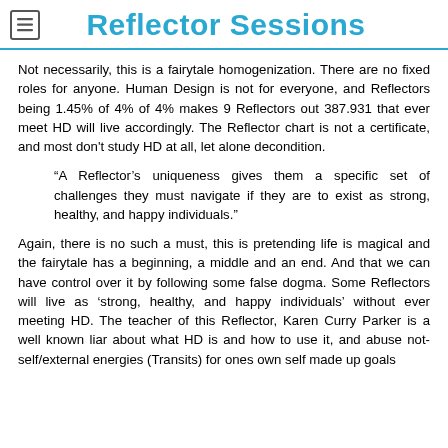Reflector Sessions
Not necessarily, this is a fairytale homogenization. There are no fixed roles for anyone. Human Design is not for everyone, and Reflectors being 1.45% of 4% of 4% makes 9 Reflectors out 387.931 that ever meet HD will live accordingly. The Reflector chart is not a certificate, and most don't study HD at all, let alone decondition.
“A Reflector’s uniqueness gives them a specific set of challenges they must navigate if they are to exist as strong, healthy, and happy individuals.”
Again, there is no such a must, this is pretending life is magical and the fairytale has a beginning, a middle and an end. And that we can have control over it by following some false dogma. Some Reflectors will live as ‘strong, healthy, and happy individuals’ without ever meeting HD. The teacher of this Reflector, Karen Curry Parker is a well known liar about what HD is and how to use it, and abuse not-self/external energies (Transits) for ones own self made up goals